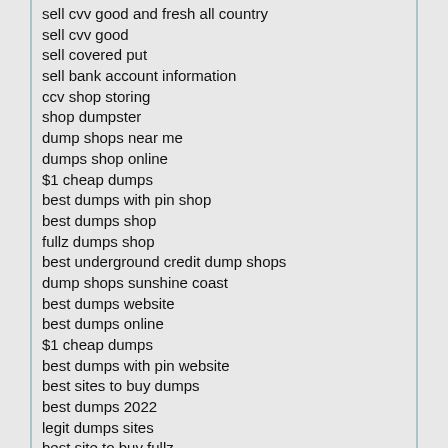sell cvv good and fresh all country
sell cvv good
sell covered put
sell bank account information
ccv shop storing
shop dumpster
dump shops near me
dumps shop online
$1 cheap dumps
best dumps with pin shop
best dumps shop
fullz dumps shop
best underground credit dump shops
dump shops sunshine coast
best dumps website
best dumps online
$1 cheap dumps
best dumps with pin website
best sites to buy dumps
best dumps 2022
legit dumps sites
best site to buy fullz
best dumps website 2020
best dump site 2020
best underground credit dump shops